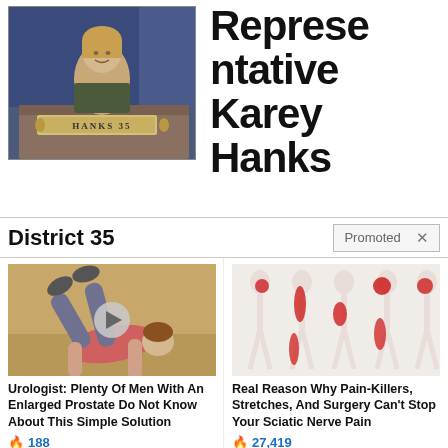[Figure (photo): Photo of Representative Karey Hanks seated at a legislative desk with nameplate reading HANKS 35]
Representative Karey Hanks
District 35
Promoted ×
[Figure (photo): Advertisement video thumbnail showing a person lying on the ground performing an exercise]
Urologist: Plenty Of Men With An Enlarged Prostate Do Not Know About This Simple Solution
🔥 188
[Figure (illustration): Medical illustration showing body figures with red pain areas highlighting sciatic nerve pain locations]
Real Reason Why Pain-Killers, Stretches, And Surgery Can't Stop Your Sciatic Nerve Pain
🔥 27,419